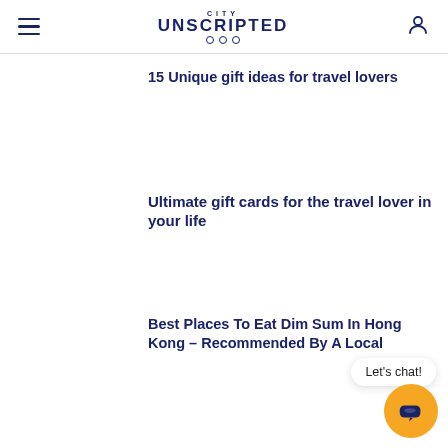CITY UNSCRIPTED
15 Unique gift ideas for travel lovers
Ultimate gift cards for the travel lover in your life
Best Places To Eat Dim Sum In Hong Kong – Recommended By A Local